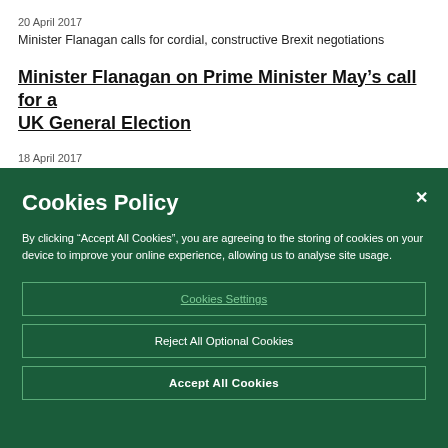20 April 2017
Minister Flanagan calls for cordial, constructive Brexit negotiations
Minister Flanagan on Prime Minister May's call for a UK General Election
18 April 2017
Minister Flanagan on Prime Minister May's call for a UK General Election
Cookies Policy
By clicking “Accept All Cookies”, you are agreeing to the storing of cookies on your device to improve your online experience, allowing us to analyse site usage.
Cookies Settings
Reject All Optional Cookies
Accept All Cookies